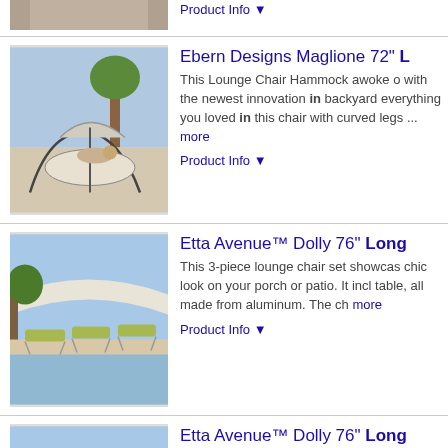[Figure (photo): Partial product image at top of page (cropped)]
Product Info ▼
[Figure (photo): Ebern Designs Maglione lounge chair hammock product image]
Ebern Designs Maglione 72" L
This Lounge Chair Hammock awoke o with the newest innovation in backyard everything you loved in this chair with curved legs ... more
Product Info ▼
[Figure (photo): Etta Avenue Dolly 76" lounge chair set (3-piece) product image]
Etta Avenue™ Dolly 76" Long
This 3-piece lounge chair set showcas chic look on your porch or patio. It incl table, all made from aluminum. The ch more
Product Info ▼
[Figure (photo): Etta Avenue Dolly 76" lounge chair set (2-piece) product image]
Etta Avenue™ Dolly 76" Long
This 2-piece lounge chair set showcas chic look on your porch or patio. It incl aluminum, and they're built on two clea more
Product Info ▼
Ads related to highland dunes viqueque 78.7 inches lor x 78.7 d in wayfair